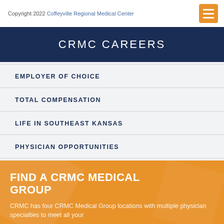Copyright 2022 Coffeyville Regional Medical Center
CRMC CAREERS
EMPLOYER OF CHOICE
TOTAL COMPENSATION
LIFE IN SOUTHEAST KANSAS
PHYSICIAN OPPORTUNITIES
FIND A CRMC MEDICAL GROUP
CRMC has four CRMC Medical Group locations with multiple physician specialties to meet all your